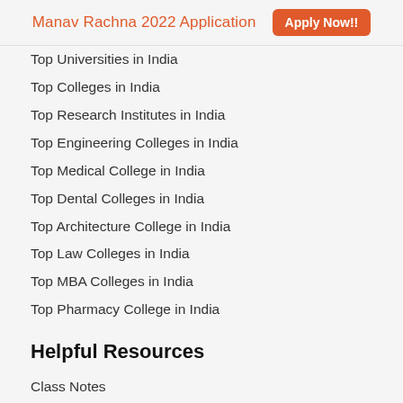Manav Rachna 2022 Application   Apply Now!!
Top Universities in India
Top Colleges in India
Top Research Institutes in India
Top Engineering Colleges in India
Top Medical College in India
Top Dental Colleges in India
Top Architecture College in India
Top Law Colleges in India
Top MBA Colleges in India
Top Pharmacy College in India
Helpful Resources
Class Notes
NCERT Solutions